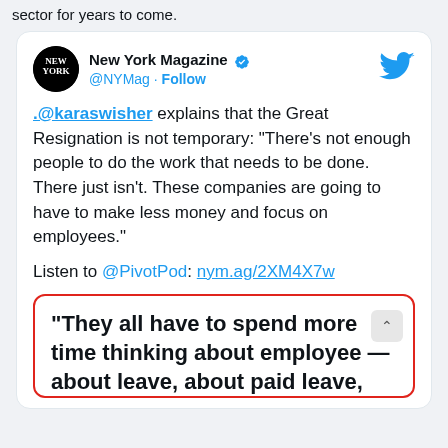sector for years to come.
[Figure (screenshot): Tweet from New York Magazine (@NYMag) with verified badge and Twitter bird logo. Tweet text: .@karaswisher explains that the Great Resignation is not temporary: “There’s not enough people to do the work that needs to be done. There just isn’t. These companies are going to have to make less money and focus on employees.” Listen to @PivotPod: nym.ag/2XM4X7w. Below is a quote box with red border showing: “They all have to spend more time thinking about employee — about leave, about paid leave,]
“They all have to spend more time thinking about employee — about leave, about paid leave,